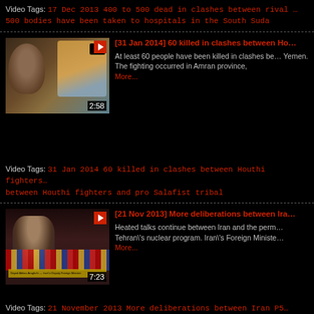Video Tags: 17 Dec 2013 400 to 500 dead in clashes between rival … 500 bodies have been taken to hospitals in the South Suda
[Figure (screenshot): Video thumbnail showing a man with a map background, with play button and duration 2:58]
[31 Jan 2014] 60 killed in clashes between Ho…
At least 60 people have been killed in clashes be… Yemen. The fighting occurred in Amran province, More...
Video Tags: 31 Jan 2014 60 killed in clashes between Houthi fighters… between Houthi fighters and pro Salafist tribal
[Figure (screenshot): Video thumbnail showing a speaker at a podium with microphones, duration 7:23]
[21 Nov 2013] More deliberations between Ira…
Heated talks continue between Iran and the perm… Tehran\'s nuclear program. Iran\'s Foreign Ministe… More...
Video Tags: 21 November 2013 More deliberations between Iran P5…